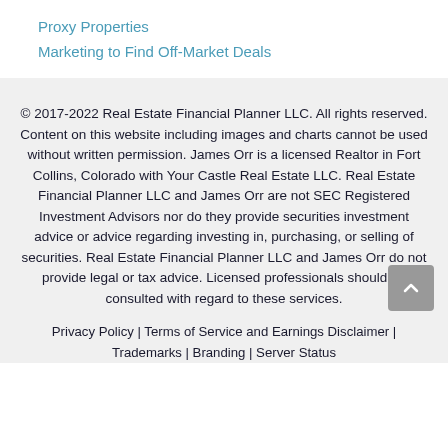Proxy Properties
Marketing to Find Off-Market Deals
© 2017-2022 Real Estate Financial Planner LLC. All rights reserved. Content on this website including images and charts cannot be used without written permission. James Orr is a licensed Realtor in Fort Collins, Colorado with Your Castle Real Estate LLC. Real Estate Financial Planner LLC and James Orr are not SEC Registered Investment Advisors nor do they provide securities investment advice or advice regarding investing in, purchasing, or selling of securities. Real Estate Financial Planner LLC and James Orr do not provide legal or tax advice. Licensed professionals should be consulted with regard to these services.
Privacy Policy | Terms of Service and Earnings Disclaimer | Trademarks | Branding | Server Status